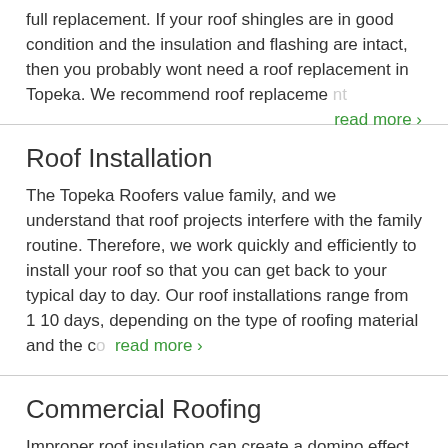full replacement. If your roof shingles are in good condition and the insulation and flashing are intact, then you probably wont need a roof replacement in Topeka. We recommend roof replaceme  read more ›
Roof Installation
The Topeka Roofers value family, and we understand that roof projects interfere with the family routine. Therefore, we work quickly and efficiently to install your roof so that you can get back to your typical day to day. Our roof installations range from 1 10 days, depending on the type of roofing material and the c  read more ›
Commercial Roofing
Improper roof insulation can create a domino effect of issues throughout your commercial building. Most commercial operations depend on their...